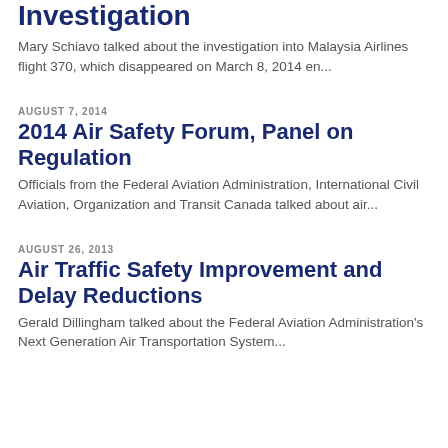Investigation
Mary Schiavo talked about the investigation into Malaysia Airlines flight 370, which disappeared on March 8, 2014 en...
AUGUST 7, 2014
2014 Air Safety Forum, Panel on Regulation
Officials from the Federal Aviation Administration, International Civil Aviation, Organization and Transit Canada talked about air...
AUGUST 26, 2013
Air Traffic Safety Improvement and Delay Reductions
Gerald Dillingham talked about the Federal Aviation Administration's Next Generation Air Transportation System...